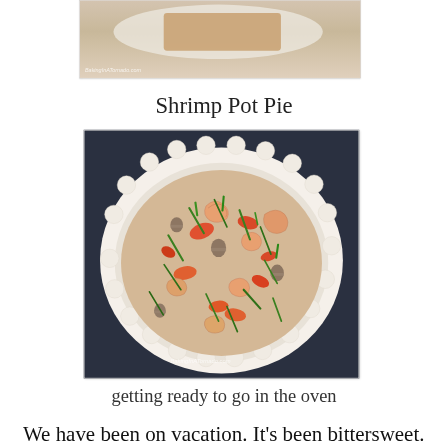[Figure (photo): Partial top image of a food item on a plate, cropped at the top of the page. Watermark reads BakingInATornado.com]
Shrimp Pot Pie
[Figure (photo): Overhead photo of a shrimp pot pie in a white scalloped pie dish, filled with shrimp, carrots, mushrooms, asparagus, and green onions in a cream sauce, before the top crust is added. Watermark reads BakingInATornado.com]
getting ready to go in the oven
We have been on vacation. It's been bittersweet. I was trying not to be sad that his birthday, a big one, would be